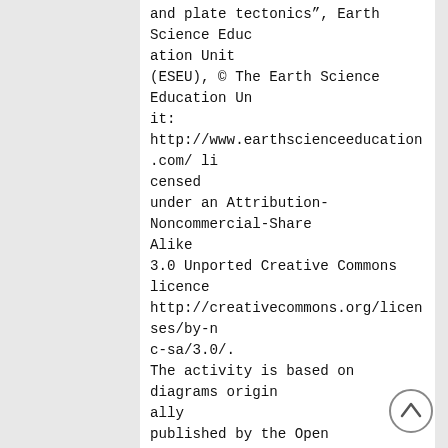and plate tectonics", Earth Science Education Unit (ESEU), © The Earth Science Education Unit: http://www.earthscienceeducation.com/ licensed under an Attribution-Noncommercial-ShareAlike 3.0 Unported Creative Commons licence http://creativecommons.org/licenses/by-nc-sa/3.0/. The activity is based on diagrams originally published by the Open University. The diagrams
1
Earthlearningidea – http://www.earthlearningidea.com/
were redrawn by ESEU and are used with permission.
The distribution of ancient rocks
2
Earthlearningidea – http://www.earthlearningidea.com/